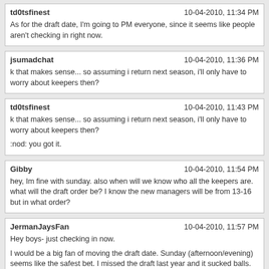td0tsfinest | 10-04-2010, 11:34 PM
As for the draft date, I'm going to PM everyone, since it seems like people aren't checking in right now.
jsumadchat | 10-04-2010, 11:36 PM
k that makes sense... so assuming i return next season, i'll only have to worry about keepers then?
td0tsfinest | 10-04-2010, 11:43 PM
k that makes sense... so assuming i return next season, i'll only have to worry about keepers then?

:nod: you got it.
Gibby | 10-04-2010, 11:54 PM
hey, Im fine with sunday. also when will we know who all the keepers are. what will the draft order be? I know the new managers will be from 13-16 but in what order?
JermanJaysFan | 10-04-2010, 11:57 PM
Hey boys- just checking in now.

I would be a big fan of moving the draft date. Sunday (afternoon/evening) seems like the safest bet. I missed the draft last year and it sucked balls.

And since I'm drafting first overall, I guess I'll waive my keeper picks.